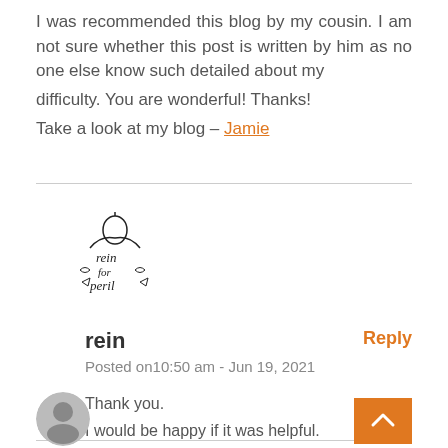I was recommended this blog by my cousin. I am not sure whether this post is written by him as no one else know such detailed about my difficulty. You are wonderful! Thanks! Take a look at my blog – Jamie
[Figure (logo): Hand-drawn logo with text 'rein for peril' and small illustrated figures]
rein
Reply
Posted on10:50 am - Jun 19, 2021
Thank you.
I would be happy if it was helpful.
[Figure (photo): Circular avatar photo of a person]